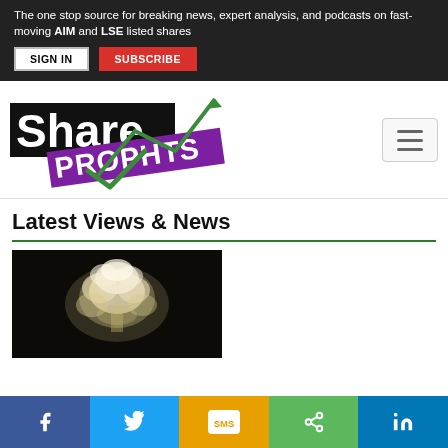The one stop source for breaking news, expert analysis, and podcasts on fast-moving AIM and LSE listed shares
[Figure (logo): ShareProphets logo with green upward arrow and checkmark]
Latest Views & News
[Figure (photo): Dark background image showing a flower or mushroom cloud shape in white/cream tones]